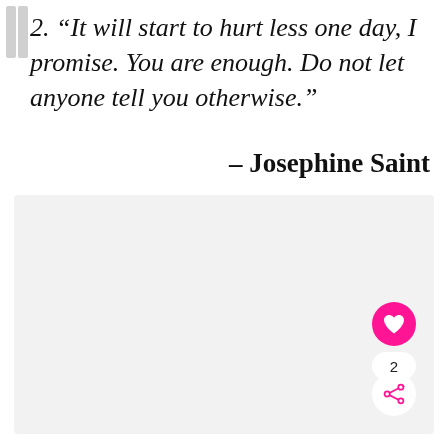2. “It will start to hurt less one day, I promise. You are enough. Do not let anyone tell you otherwise.”
– Josephine Saint
[Figure (other): Light gray rounded rectangle panel occupying the bottom two-thirds of the page, containing a heart (like) button, like count of 2, and a share button in the bottom-right corner.]